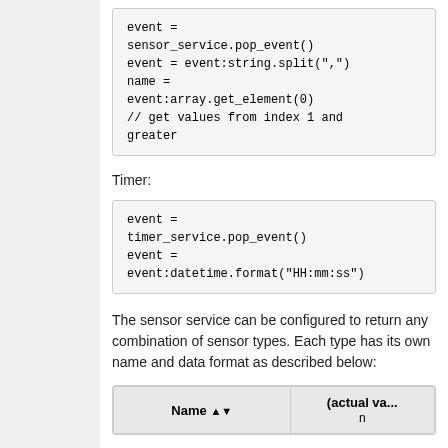[Figure (screenshot): Code block showing sensor service event handling: event = sensor_service.pop_event(), event = event:string.split(','), name = event:array.get_element(0), // get values from index 1 and greater]
Timer:
[Figure (screenshot): Code block showing timer service event handling: event = timer_service.pop_event(), event = event:datetime.format('HH:mm:ss')]
The sensor service can be configured to return any combination of sensor types. Each type has its own name and data format as described below:
| Name | (actual va... |
| --- | --- |